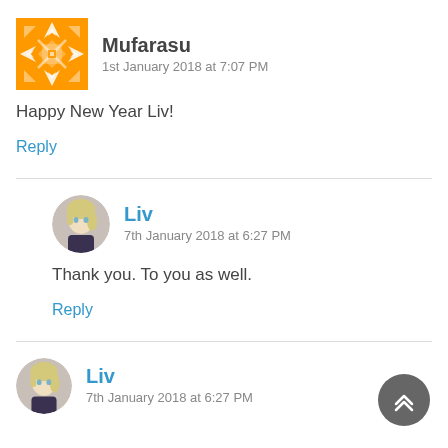[Figure (illustration): Orange geometric/mosaic avatar icon for user Mufarasu]
Mufarasu
1st January 2018 at 7:07 PM
Happy New Year Liv!
Reply
[Figure (illustration): Anime character avatar (blonde hair) for user Liv]
Liv
7th January 2018 at 6:27 PM
Thank you. To you as well.
Reply
[Figure (illustration): Anime character avatar (blonde hair) for user Liv]
Liv
7th January 2018 at 6:27 PM